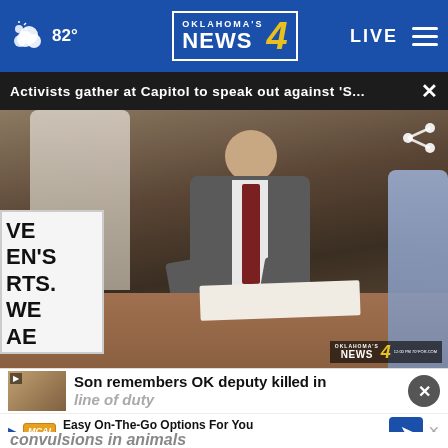82° | Oklahoma's News 4 | LIVE
Activists gather at Capitol to speak out against 'S...
[Figure (photo): Official (governor) seated at a desk signing a document, wearing a gray suit and dark red tie with an American flag pin. People standing around him including women in white sweaters. On the left are protest signs reading 'VE EN'S RTS...' (partial). Oklahoma's News 4 watermark in the lower right corner.]
Son remembers OK deputy killed in line of duty
Easy On-The-Go Options For You
McAlister's Deli
convulsions in animals